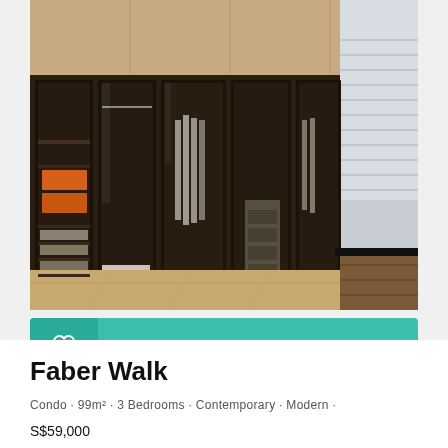[Figure (photo): Interior photo of a modern walk-in closet with dark-framed glass sliding wardrobe doors, wooden cabinetry, orange storage boxes, hanging clothes, shoes on shelves, and a window with blinds. Warm wood flooring and a desk area on the right side.]
SAVE TO BOARD
Photo saved 16 times
Faber Walk
Condo · 99m² · 3 Bedrooms · Contemporary · Modern ·
S$59,000